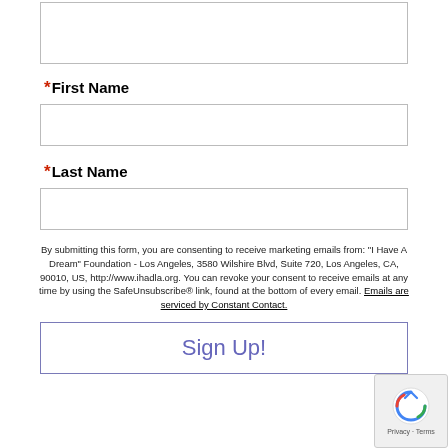[Top input field - partially visible]
* First Name
[First Name input field]
* Last Name
[Last Name input field]
By submitting this form, you are consenting to receive marketing emails from: "I Have A Dream" Foundation - Los Angeles, 3580 Wilshire Blvd, Suite 720, Los Angeles, CA, 90010, US, http://www.ihadla.org. You can revoke your consent to receive emails at any time by using the SafeUnsubscribe® link, found at the bottom of every email. Emails are serviced by Constant Contact.
Sign Up!